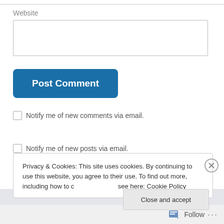Website
[Figure (screenshot): Website text input field (empty)]
[Figure (screenshot): Post Comment button (blue, rounded)]
Notify me of new comments via email.
Notify me of new posts via email.
Privacy & Cookies: This site uses cookies. By continuing to use this website, you agree to their use. To find out more, including how to control cookies, see here: Cookie Policy
Close and accept
Follow